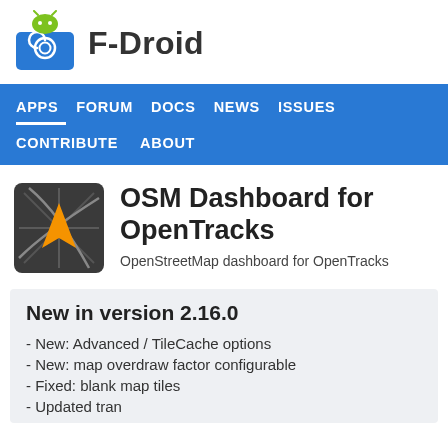[Figure (logo): F-Droid logo: green Android robot head above a blue camera/shield icon with circular arrow]
F-Droid
APPS   FORUM   DOCS   NEWS   ISSUES   CONTRIBUTE   ABOUT
[Figure (logo): OSM Dashboard for OpenTracks app icon: dark grey background with white road lines and orange navigation arrow]
OSM Dashboard for OpenTracks
OpenStreetMap dashboard for OpenTracks
New in version 2.16.0
- New: Advanced / TileCache options
- New: map overdraw factor configurable
- Fixed: blank map tiles
- Updated translations